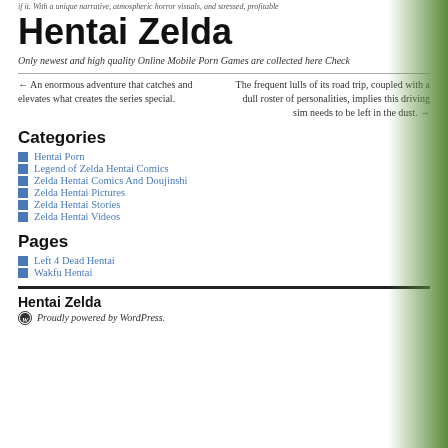if it. With a unique narrative, atmospheric horror visuals, and stressed, profitable
Hentai Zelda
Only newest and high quality Online Mobile Porn Games are collected here Check
← An enormous adventure that catches and elevates what creates the series special.
The frequent lulls of its road trip, coupled with a dull roster of personalities, implies this driving sim needs to be left in the dust. →
Categories
Hentai Porn
Legend of Zelda Hentai Comics
Zelda Hentai Comics And Doujinshi
Zelda Hentai Pictures
Zelda Hentai Stories
Zelda Hentai Videos
Pages
Left 4 Dead Hentai
Wakfu Hentai
Hentai Zelda
Proudly powered by WordPress.